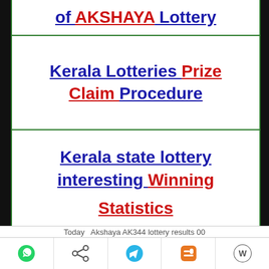of AKSHAYA Lottery
Kerala Lotteries Prize Claim Procedure
Kerala state lottery interesting Winning Statistics
[Figure (illustration): Hand/cursor pointing icon (grey outline)]
[Figure (infographic): Kerala Lottery Android APP DOWNLOAD banner with Android robot icon on black background. Text: Kerala Lottery (yellow), Android APP (white), DOWNLOAD (red)]
Today Akshaya AK344 lottery results 00
WhatsApp | Share | Telegram | Blogger | WordPress social share icons